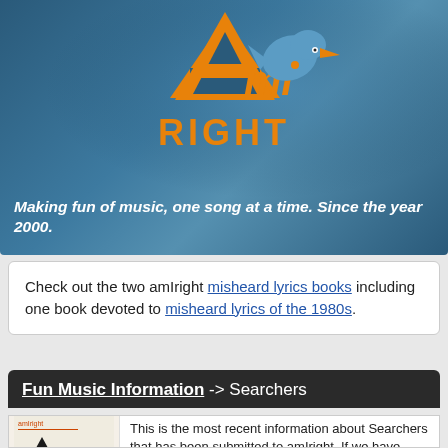[Figure (logo): amIright logo with orange letter A shaped like a house/arrow pointing up, orange 'mi' text, blue bird/creature with orange beak, and orange text 'RIGHT' below, on a dark blue/teal gradient background]
Making fun of music, one song at a time. Since the year 2000.
Check out the two amIright misheard lyrics books including one book devoted to misheard lyrics of the 1980s.
Fun Music Information -> Searchers
This is the most recent information about Searchers that has been submitted to amIright. If we have